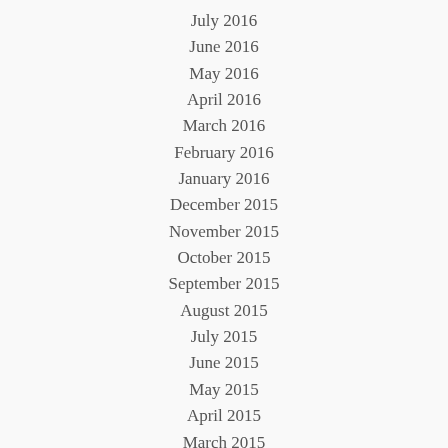July 2016
June 2016
May 2016
April 2016
March 2016
February 2016
January 2016
December 2015
November 2015
October 2015
September 2015
August 2015
July 2015
June 2015
May 2015
April 2015
March 2015
CATEGORIES
Business